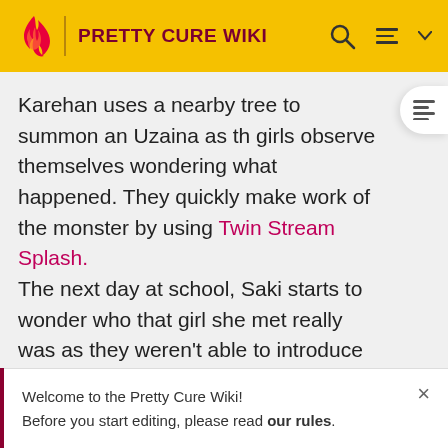PRETTY CURE WIKI
Karehan uses a nearby tree to summon an Uzaina as the girls observe themselves wondering what happened. They quickly make work of the monster by using Twin Stream Splash. The next day at school, Saki starts to wonder who that girl she met really was as they weren't able to introduce one-another, even as children. But to her surprise, Mai suddenly walks in and is introduced to the class as the new transfer student. As Saki recognizes her, Mai starts to introduce herself.
Welcome to the Pretty Cure Wiki!
Before you start editing, please read our rules.